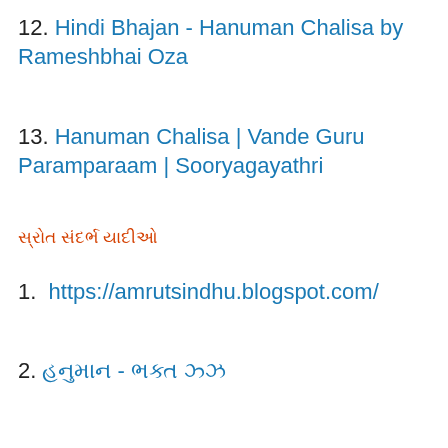12. Hindi Bhajan - Hanuman Chalisa by Rameshbhai Oza
13. Hanuman Chalisa | Vande Guru Paramparaam | Sooryagayathri
સ્રોત સંદર્ભ યાદીઓ
1.  https://amrutsindhu.blogspot.com/
2. હનુમાન - ભક્ત ઝ્ઝ